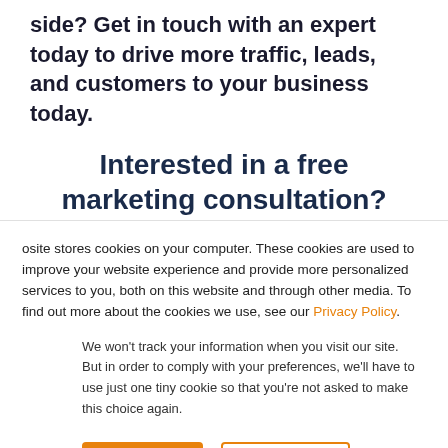side? Get in touch with an expert today to drive more traffic, leads, and customers to your business today.
Interested in a free marketing consultation?
First name*
This website stores cookies on your computer. These cookies are used to improve your website experience and provide more personalized services to you, both on this website and through other media. To find out more about the cookies we use, see our Privacy Policy.
We won't track your information when you visit our site. But in order to comply with your preferences, we'll have to use just one tiny cookie so that you're not asked to make this choice again.
Accept
Decline